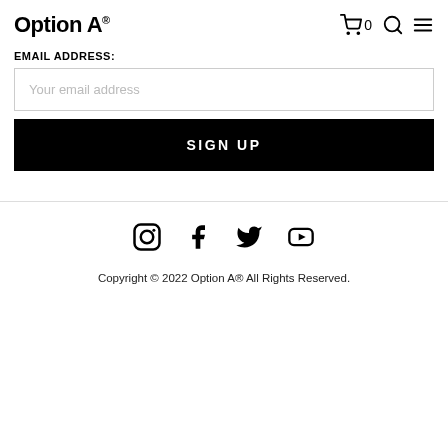Option A®
EMAIL ADDRESS:
Your email address
SIGN UP
[Figure (other): Social media icons: Instagram, Facebook, Twitter, YouTube]
Copyright © 2022 Option A® All Rights Reserved.